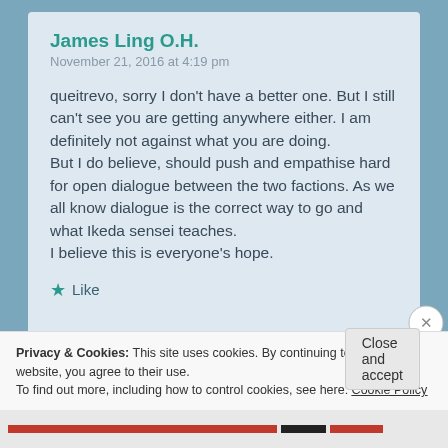James Ling O.H.
November 21, 2016 at 4:19 pm
queitrevo, sorry I don't have a better one. But I still can't see you are getting anywhere either. I am definitely not against what you are doing.
But I do believe, should push and empathise hard for open dialogue between the two factions. As we all know dialogue is the correct way to go and what Ikeda sensei teaches.
I believe this is everyone's hope.
Like
Privacy & Cookies: This site uses cookies. By continuing to use this website, you agree to their use.
To find out more, including how to control cookies, see here: Cookie Policy
Close and accept